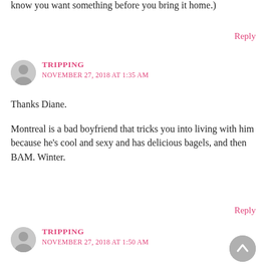know you want something before you bring it home.)
Reply
TRIPPING
NOVEMBER 27, 2018 AT 1:35 AM
Thanks Diane.
Montreal is a bad boyfriend that tricks you into living with him because he's cool and sexy and has delicious bagels, and then BAM. Winter.
Reply
TRIPPING
NOVEMBER 27, 2018 AT 1:50 AM